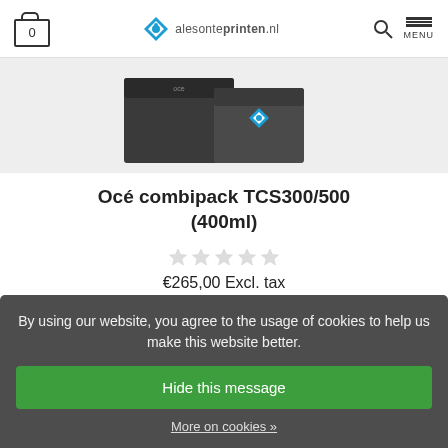alesonteprinters.nl — cart icon (0), search, MENU
[Figure (photo): Océ combipack TCS300/500 product boxes, dark packaging with logo, partially visible at top]
Océ combipack TCS300/500 (400ml)
★★★★★ (empty stars)
€265,00 Excl. tax
✔ Available
Add to cart
By using our website, you agree to the usage of cookies to help us make this website better.
Hide this message
More on cookies »